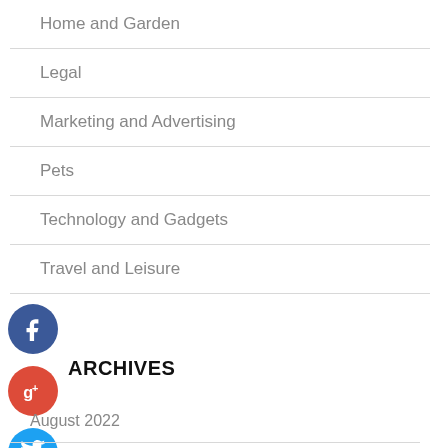Home and Garden
Legal
Marketing and Advertising
Pets
Technology and Gadgets
Travel and Leisure
[Figure (illustration): Facebook icon (blue circle with white f)]
[Figure (illustration): Google+ icon (red circle with white g+)]
[Figure (illustration): Twitter icon (blue circle with white bird)]
[Figure (illustration): Dark blue circle with white plus sign]
ARCHIVES
August 2022
July 2022